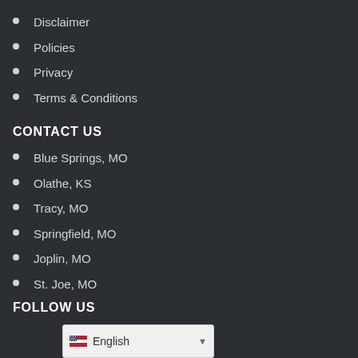Disclaimer
Policies
Privacy
Terms & Conditions
CONTACT US
Blue Springs, MO
Olathe, KS
Tracy, MO
Springfield, MO
Joplin, MO
St. Joe, MO
FOLLOW US
English